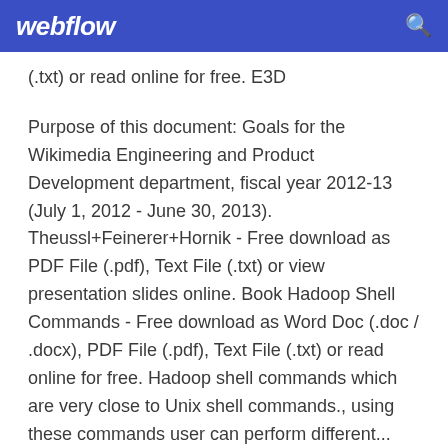webflow
(.txt) or read online for free. E3D
Purpose of this document: Goals for the Wikimedia Engineering and Product Development department, fiscal year 2012-13 (July 1, 2012 - June 30, 2013). Theussl+Feinerer+Hornik - Free download as PDF File (.pdf), Text File (.txt) or view presentation slides online. Book Hadoop Shell Commands - Free download as Word Doc (.doc / .docx), PDF File (.pdf), Text File (.txt) or read online for free. Hadoop shell commands which are very close to Unix shell commands., using these commands user can perform different... Hbase Tutorial - Free download as PDF File